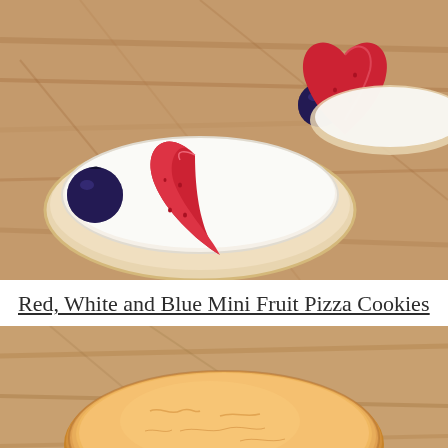[Figure (photo): Close-up photo of mini fruit pizza cookies on a wooden cutting board. One cookie in the foreground is topped with white cream cheese frosting, a halved strawberry, and two blueberries. A second cookie is partially visible in the background.]
Red, White and Blue Mini Fruit Pizza Cookies
[Figure (photo): Close-up photo of a single plain golden-brown sugar cookie, unfrosted, on a wooden surface.]